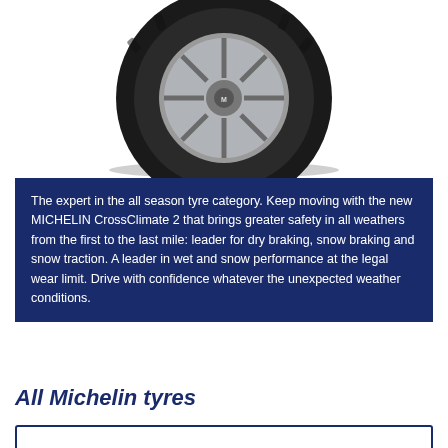[Figure (photo): Close-up photo of a Michelin CrossClimate 2 tyre showing the tread pattern and alloy wheel rim, viewed from a three-quarter angle against a white background.]
The expert in the all season tyre category. Keep moving with the new MICHELIN CrossClimate 2 that brings greater safety in all weathers from the first to the last mile: leader for dry braking, snow braking and snow traction. A leader in wet and snow performance at the legal wear limit. Drive with confidence whatever the unexpected weather conditions.
All Michelin tyres